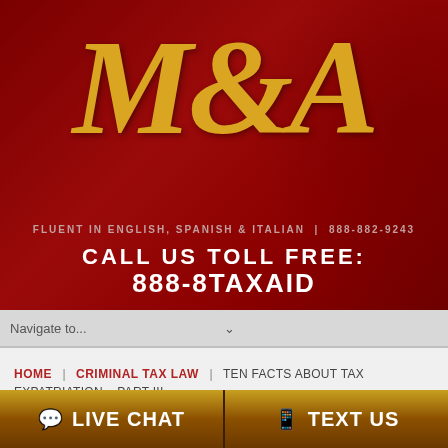[Figure (logo): M&A law firm logo banner with dark red/maroon background, gold serif italic M&A text, fluent in English Spanish and Italian, toll-free phone numbers]
Navigate to...
HOME | CRIMINAL TAX LAW | TEN FACTS ABOUT TAX EXPATRIATION – PART III
LIVE CHAT
TEXT US